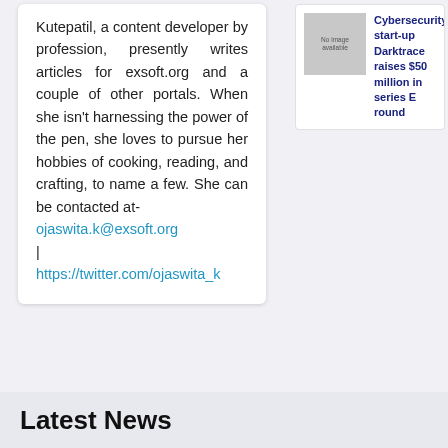Kutepatil, a content developer by profession, presently writes articles for exsoft.org and a couple of other portals. When she isn't harnessing the power of the pen, she loves to pursue her hobbies of cooking, reading, and crafting, to name a few. She can be contacted at- ojaswita.k@exsoft.org | https://twitter.com/ojaswita_k
[Figure (photo): No image available placeholder box]
Cybersecurity start-up Darktrace raises $50 million in series E round
Latest News